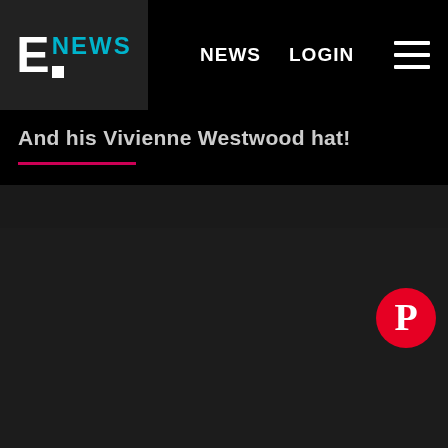E! NEWS | NEWS | LOGIN
And his Vivienne Westwood hat!
[Figure (logo): Pinterest logo button — red circle with white P icon]